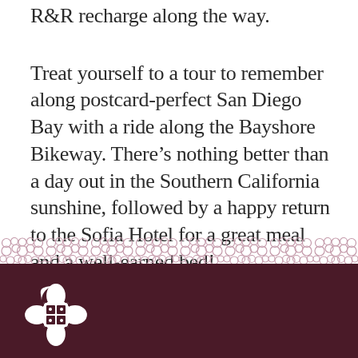R&R recharge along the way.
Treat yourself to a tour to remember along postcard-perfect San Diego Bay with a ride along the Bayshore Bikeway. There’s nothing better than a day out in the Southern California sunshine, followed by a happy return to the Sofia Hotel for a great meal and a well-earned bed!
[Figure (illustration): Decorative lace border pattern in muted rose/mauve color running horizontally across the page]
[Figure (logo): Sofia Hotel ornate square logo mark in white on dark maroon background]